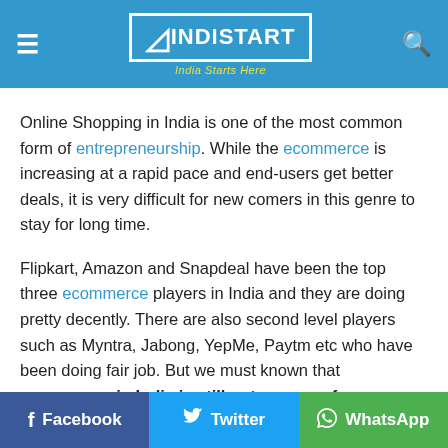INDISTART — India Starts Here
Online Shopping in India is one of the most common form of entrepreneurship. While the ecommerce is increasing at a rapid pace and end-users get better deals, it is very difficult for new comers in this genre to stay for long time.
Flipkart, Amazon and Snapdeal have been the top three ecommerce players in India and they are doing pretty decently. There are also second level players such as Myntra, Jabong, YepMe, Paytm etc who have been doing fair job. But we must known that ecommerce in India is still not a game of
Facebook  Twitter  WhatsApp